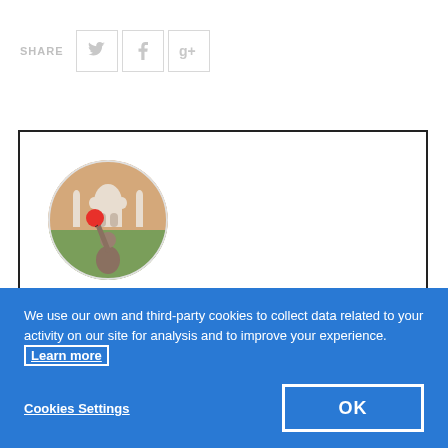SHARE
[Figure (screenshot): Share buttons: Twitter bird icon, Facebook f icon, Google+ g+ icon, each in a light grey bordered square]
[Figure (photo): Circular profile photo showing a person holding a red balloon in front of the Taj Mahal at dusk]
ABOUT SABRINA BERTAZZO
We use our own and third-party cookies to collect data related to your activity on our site for analysis and to improve your experience. Learn more
Cookies Settings
OK